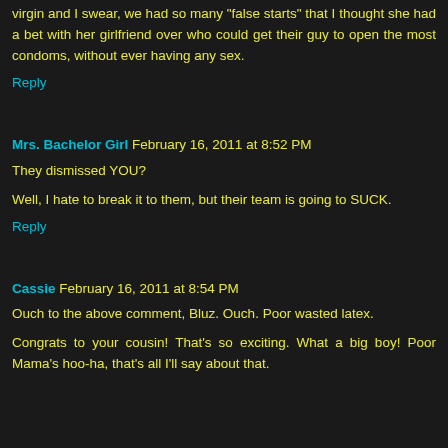virgin and I swear, we had so many "false starts" that I thought she had a bet with her girlfriend over who could get their guy to open the most condoms, without ever having any sex.
Reply
Mrs. Bachelor Girl February 16, 2011 at 8:52 PM
They dismissed YOU?
Well, I hate to break it to them, but their team is going to SUCK.
Reply
Cassie February 16, 2011 at 8:54 PM
Ouch to the above comment, Bluz. Ouch. Poor wasted latex.
Congrats to your cousin! That's so exciting. What a big boy! Poor Mama's hoo-ha, that's all I'll say about that.